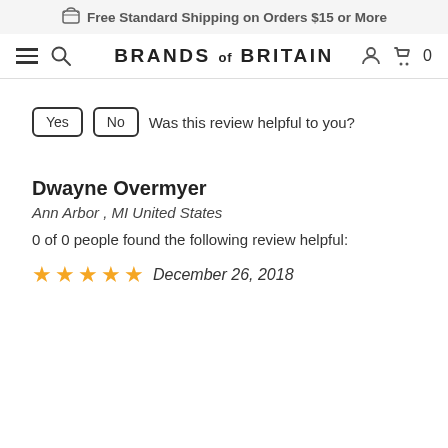Free Standard Shipping on Orders $15 or More
[Figure (screenshot): Navigation bar with hamburger menu, search icon, BRANDS of BRITAIN logo, user icon, cart icon and 0]
Yes  No  Was this review helpful to you?
Dwayne Overmyer
Ann Arbor , MI United States
0 of 0 people found the following review helpful:
★★★★★ December 26, 2018